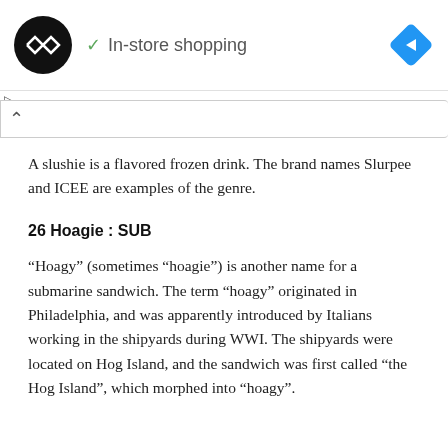[Figure (screenshot): App UI top bar with black circle logo with double-arrow icon, checkmark and 'In-store shopping' label, and blue navigation diamond icon on the right]
A slushie is a flavored frozen drink. The brand names Slurpee and ICEE are examples of the genre.
26 Hoagie : SUB
“Hoagy” (sometimes “hoagie”) is another name for a submarine sandwich. The term “hoagy” originated in Philadelphia, and was apparently introduced by Italians working in the shipyards during WWI. The shipyards were located on Hog Island, and the sandwich was first called “the Hog Island”, which morphed into “hoagy”.